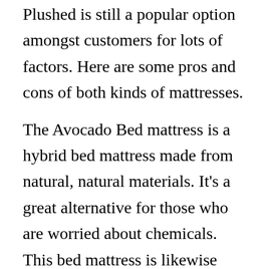Plushed is still a popular option amongst customers for lots of factors. Here are some pros and cons of both kinds of mattresses.
The Avocado Bed mattress is a hybrid bed mattress made from natural, natural materials. It's a great alternative for those who are worried about chemicals. This bed mattress is likewise licensed vegan. Organic materials are an advantage, and it does not injure that Avocado offers a vegan version of its mattress, too. Avocado also makes a bed mattress with no stolen steel coils. Avocado is another fantastic option if you're concerned about chemicals, or are simply